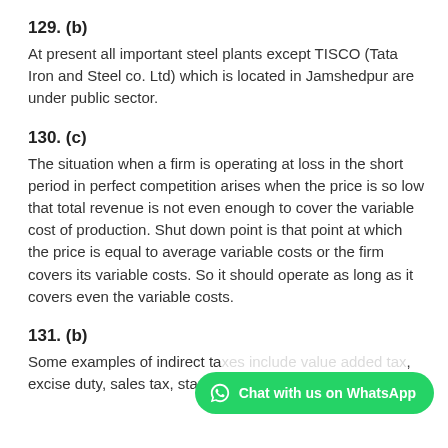129. (b)
At present all important steel plants except TISCO (Tata Iron and Steel co. Ltd) which is located in Jamshedpur are under public sector.
130. (c)
The situation when a firm is operating at loss in the short period in perfect competition arises when the price is so low that total revenue is not even enough to cover the variable cost of production. Shut down point is that point at which the price is equal to average variable costs or the firm covers its variable costs. So it should operate as long as it covers even the variable costs.
131. (b)
Some examples of indirect taxes include value added tax, excise duty, sales tax, stamp duty and custom duty levied